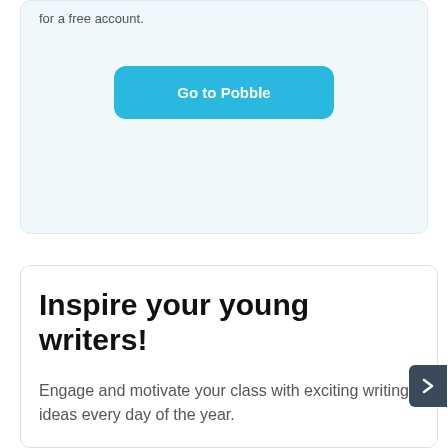for a free account.
[Figure (other): Blue 'Go to Pobble' button]
Inspire your young writers!
Engage and motivate your class with exciting writing ideas every day of the year.